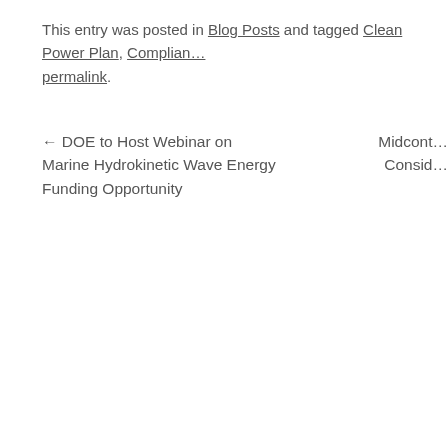This entry was posted in Blog Posts and tagged Clean Power Plan, Compliance, permalink.
← DOE to Host Webinar on Marine Hydrokinetic Wave Energy Funding Opportunity    Midcontinent... Consid...